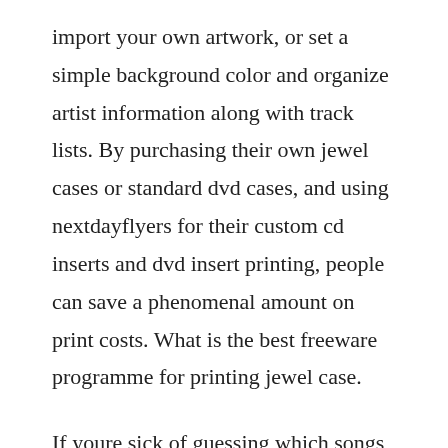import your own artwork, or set a simple background color and organize artist information along with track lists. By purchasing their own jewel cases or standard dvd cases, and using nextdayflyers for their custom cd inserts and dvd insert printing, people can save a phenomenal amount on print costs. What is the best freeware programme for printing jewel case.
If youre sick of guessing which songs are on which cd, get the cd label software that automatically puts your track list on your cd